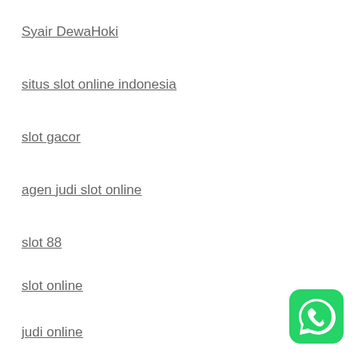Syair DewaHoki
situs slot online indonesia
slot gacor
agen judi slot online
slot 88
slot online
judi online
[Figure (logo): WhatsApp green circular icon with white phone handset]